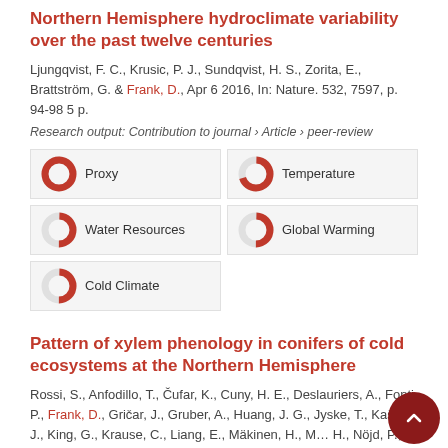Northern Hemisphere hydroclimate variability over the past twelve centuries
Ljungqvist, F. C., Krusic, P. J., Sundqvist, H. S., Zorita, E., Brattström, G. & Frank, D., Apr 6 2016, In: Nature. 532, 7597, p. 94-98 5 p.
Research output: Contribution to journal › Article › peer-review
[Figure (infographic): Keyword badges with donut-chart percentage indicators: Proxy (100%), Temperature (70%), Water Resources (50%), Global Warming (50%), Cold Climate (50%)]
Pattern of xylem phenology in conifers of cold ecosystems at the Northern Hemisphere
Rossi, S., Anfodillo, T., Čufar, K., Cuny, H. E., Deslauriers, A., Fonti, P., Frank, D., Gričar, J., Gruber, A., Huang, J. G., Jyske, T., Kašpar, J., King, G., Krause, C., Liang, E., Mäkinen, H., M... H., Nöjd, P., Oberhuber, W., Prislan, P., & 4 others, No... In: Global change biology. 22, 11, p. 3804-3813 10 p.
Research output: Contribution to journal › Article › peer-review